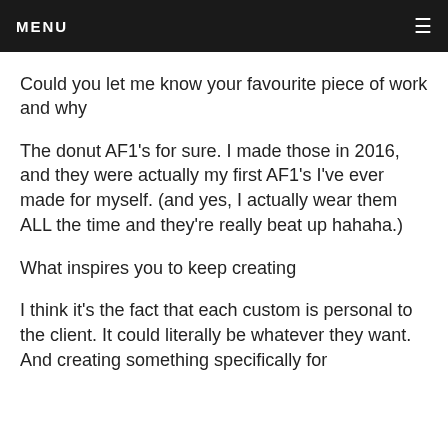MENU ≡
Could you let me know your favourite piece of work and why
The donut AF1's for sure. I made those in 2016, and they were actually my first AF1's I've ever made for myself. (and yes, I actually wear them ALL the time and they're really beat up hahaha.)
What inspires you to keep creating
I think it's the fact that each custom is personal to the client. It could literally be whatever they want. And creating something specifically for